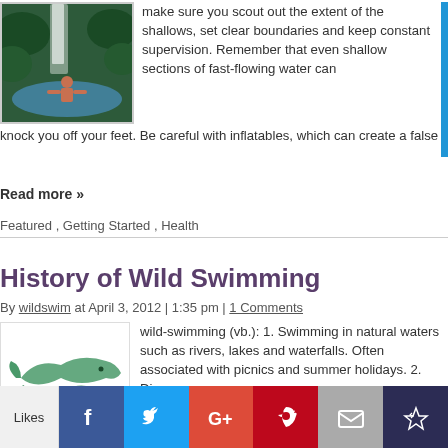[Figure (photo): Person standing by a waterfall in a lush green forest]
make sure you scout out the extent of the shallows, set clear boundaries and keep constant supervision. Remember that even shallow sections of fast-flowing water can knock you off your feet. Be careful with inflatables, which can create a false
Read more »
Featured , Getting Started , Health
History of Wild Swimming
By wildswim at April 3, 2012 | 1:35 pm | 1 Comments
[Figure (illustration): Green illustration of fish/dolphins]
wild-swimming (vb.): 1. Swimming in natural waters such as rivers, lakes and waterfalls. Often associated with picnics and summer holidays. 2. Discovering swimming in nat